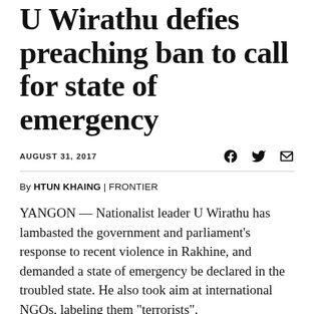U Wirathu defies preaching ban to call for state of emergency
AUGUST 31, 2017
By HTUN KHAING | FRONTIER
YANGON — Nationalist leader U Wirathu has lambasted the government and parliament's response to recent violence in Rakhine, and demanded a state of emergency be declared in the troubled state. He also took aim at international NGOs, labeling them “terrorists”.
At a fiery rally outside Mahabandoola Park in